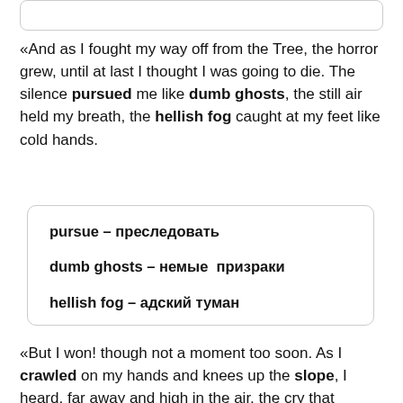[Figure (other): Empty rounded rectangle box at the top of the page]
«And as I fought my way off from the Tree, the horror grew, until at last I thought I was going to die. The silence pursued me like dumb ghosts, the still air held my breath, the hellish fog caught at my feet like cold hands.
pursue – преследовать
dumb ghosts – немые  призраки
hellish fog – адский туман
«But I won! though not a moment too soon. As I crawled on my hands and knees up the slope, I heard, far away and high in the air, the cry that already had